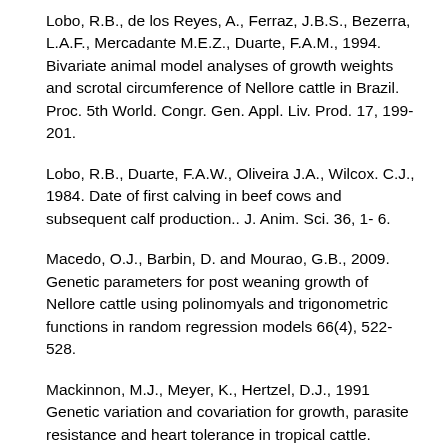Lobo, R.B., de los Reyes, A., Ferraz, J.B.S., Bezerra, L.A.F., Mercadante M.E.Z., Duarte, F.A.M., 1994. Bivariate animal model analyses of growth weights and scrotal circumference of Nellore cattle in Brazil. Proc. 5th World. Congr. Gen. Appl. Liv. Prod. 17, 199-201.
Lobo, R.B., Duarte, F.A.W., Oliveira J.A., Wilcox. C.J., 1984. Date of first calving in beef cows and subsequent calf production.. J. Anim. Sci. 36, 1- 6.
Macedo, O.J., Barbin, D. and Mourao, G.B., 2009. Genetic parameters for post weaning growth of Nellore cattle using polinomyals and trigonometric functions in random regression models 66(4), 522- 528.
Mackinnon, M.J., Meyer, K., Hertzel, D.J., 1991 Genetic variation and covariation for growth, parasite resistance and heart tolerance in tropical cattle. Livest. Prod. Sci. 27, 105-122.